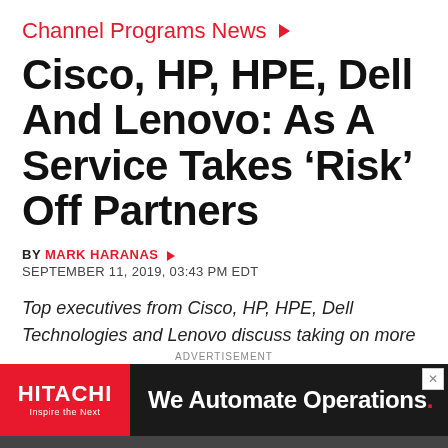Channel Programs News
Cisco, HP, HPE, Dell And Lenovo: As A Service Takes ‘Risk’ Off Partners
BY MARK HARANAS
SEPTEMBER 11, 2019, 03:43 PM EDT
Top executives from Cisco, HP, HPE, Dell Technologies and Lenovo discuss taking on more risk and liability for channel partners as more customers seek to consume IT as a service.
[Figure (infographic): Hitachi advertisement banner reading 'We Automate Operations.' with Hitachi Inspire the Next logo on red background]